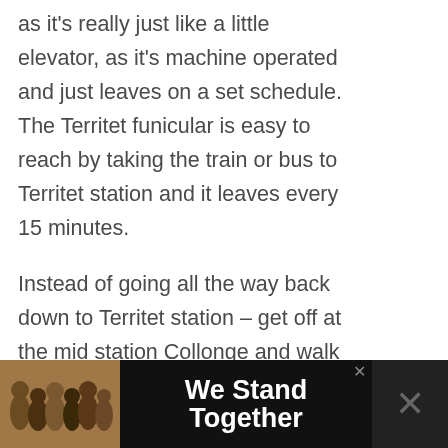as it's really just like a little elevator, as it's machine operated and just leaves on a set schedule.  The Territet funicular is easy to reach by taking the train or bus to Territet station and it leaves every 15 minutes.
Instead of going all the way back down to Territet station – get off at the mid station Collonge and walk along Rue due Temple into town.  You are still very high up here and the views are fantastic.
[Figure (screenshot): UI overlay: heart/like button (blue circle with heart icon), like count '879', share button (grey circle with share icon)]
[Figure (infographic): What's Next promotional box with thumbnail image and text '45 of the Best Things to do...']
[Figure (photo): Advertisement banner at bottom: group of people photo on left, 'We Stand Together' text in center, close button X, dark right panel with X mark]